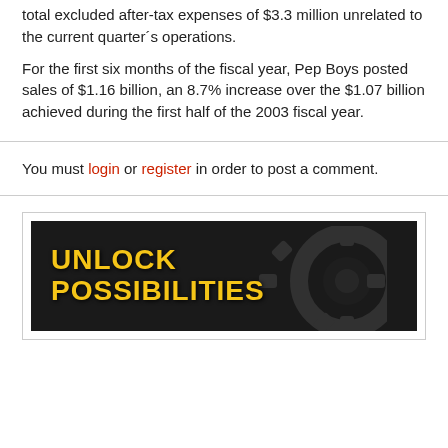total excluded after-tax expenses of $3.3 million unrelated to the current quarter's operations.
For the first six months of the fiscal year, Pep Boys posted sales of $1.16 billion, an 8.7% increase over the $1.07 billion achieved during the first half of the 2003 fiscal year.
You must login or register in order to post a comment.
[Figure (illustration): Advertisement banner with dark background showing 'UNLOCK POSSIBILITIES' text in bold yellow letters with a gear/mechanical element on the right side.]